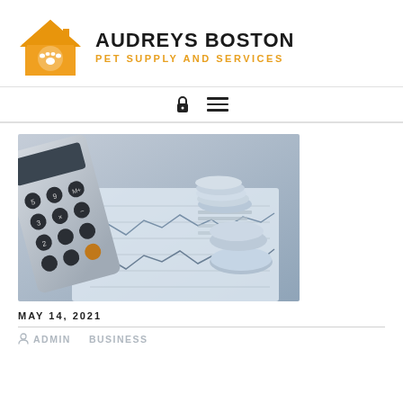[Figure (logo): Audrey's Boston Pet Supply and Services logo with orange house/paw icon]
AUDREYS BOSTON
PET SUPPLY AND SERVICES
[Figure (photo): Financial image showing a calculator, coins stacked, and a financial chart/graph printed on paper, in blue-silver tones]
MAY 14, 2021
ADMIN   BUSINESS